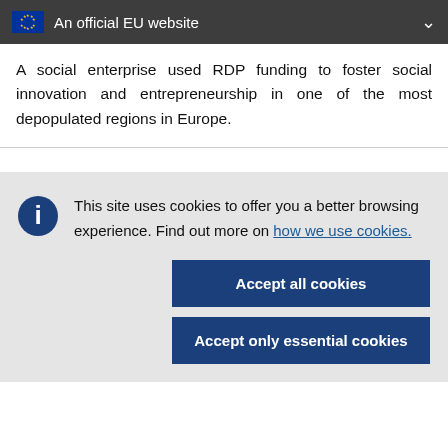An official EU website
A social enterprise used RDP funding to foster social innovation and entrepreneurship in one of the most depopulated regions in Europe.
This site uses cookies to offer you a better browsing experience. Find out more on how we use cookies.
Accept all cookies
Accept only essential cookies